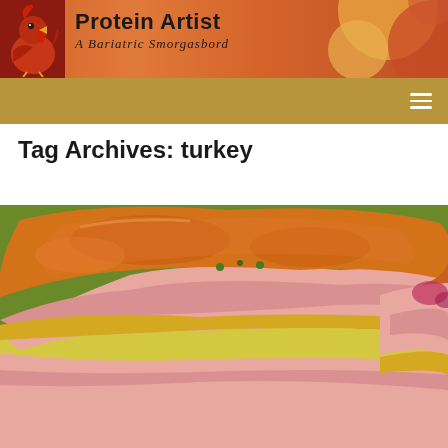Protein Artist — A Bariatric Smorgasbord
Tag Archives: turkey
[Figure (photo): Close-up photo of a sliced sandwich with layers of deli turkey meat, yellow cheese, and lettuce on a toasted golden-brown bread, served on a green plate.]